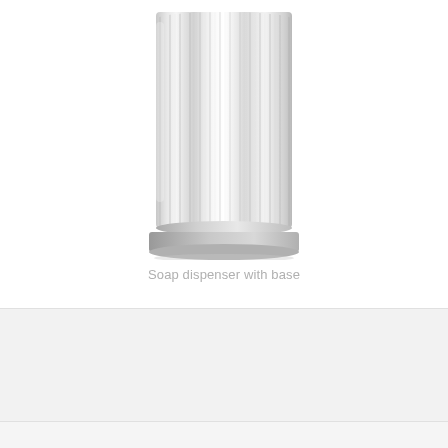[Figure (photo): A cylindrical glass soap dispenser with vertical ribbed/fluted texture, transparent clear glass, photographed from the bottom portion showing the body and base of the dispenser against a white background.]
Soap dispenser with base